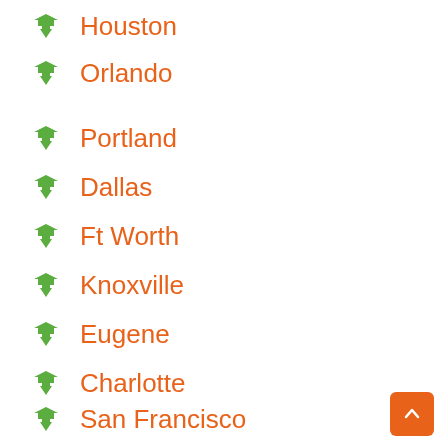Houston
Orlando
Portland
Dallas
Ft Worth
Knoxville
Eugene
Charlotte
San Francisco